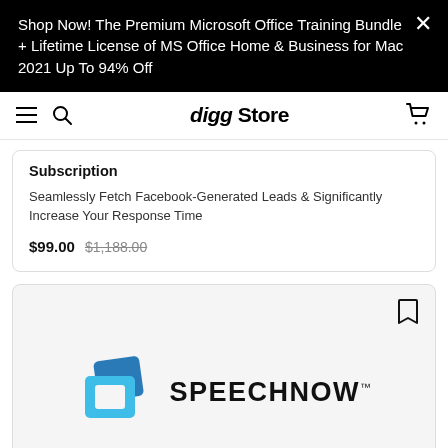Shop Now! The Premium Microsoft Office Training Bundle + Lifetime License of MS Office Home & Business for Mac 2021 Up To 94% Off
digg Store
Subscription
Seamlessly Fetch Facebook-Generated Leads & Significantly Increase Your Response Time
$99.00  $1,188.00
[Figure (logo): SpeechNow logo with blue overlapping square icons and bold SPEECHNOW text]